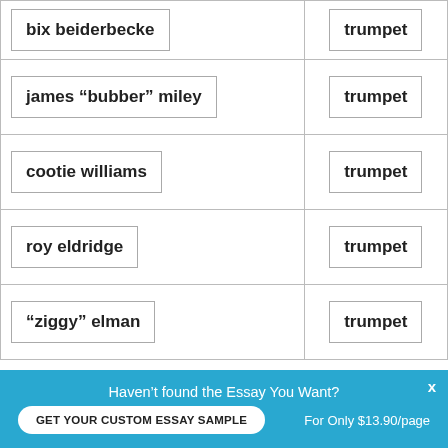| Name | Instrument |
| --- | --- |
| bix beiderbecke | trumpet |
| james “bubber” miley | trumpet |
| cootie williams | trumpet |
| roy eldridge | trumpet |
| “ziggy” elman | trumpet |
Haven’t found the Essay You Want?
GET YOUR CUSTOM ESSAY SAMPLE
For Only $13.90/page
x